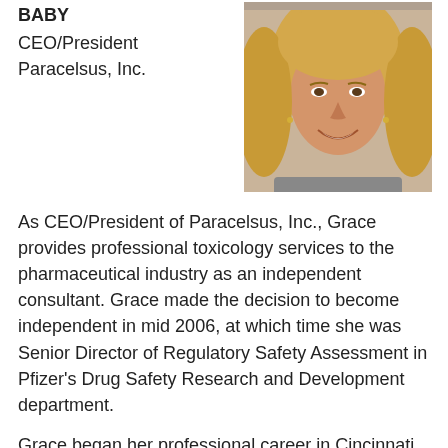BABY
CEO/President
Paracelsus, Inc.
[Figure (photo): Portrait photo of a blonde woman smiling, professional headshot]
As CEO/President of Paracelsus, Inc., Grace provides professional toxicology services to the pharmaceutical industry as an independent consultant. Grace made the decision to become independent in mid 2006, at which time she was Senior Director of Regulatory Safety Assessment in Pfizer's Drug Safety Research and Development department.
Grace began her professional career in Cincinnati as a divisional toxicologist in Procter & Gamble's Health Care Sector (1992-1994). In 1994, Grace migrated to San